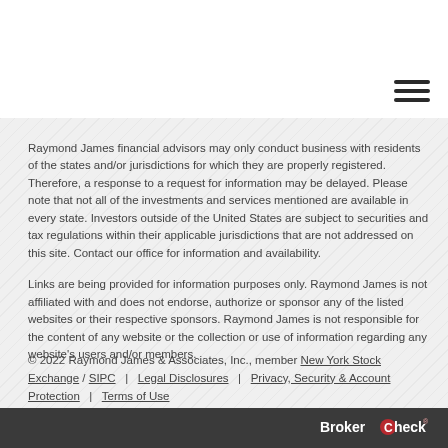Raymond James financial advisors may only conduct business with residents of the states and/or jurisdictions for which they are properly registered. Therefore, a response to a request for information may be delayed. Please note that not all of the investments and services mentioned are available in every state. Investors outside of the United States are subject to securities and tax regulations within their applicable jurisdictions that are not addressed on this site. Contact our office for information and availability.
Links are being provided for information purposes only. Raymond James is not affiliated with and does not endorse, authorize or sponsor any of the listed websites or their respective sponsors. Raymond James is not responsible for the content of any website or the collection or use of information regarding any website's users and/or members.
© 2022 Raymond James & Associates, Inc., member New York Stock Exchange / SIPC | Legal Disclosures | Privacy, Security & Account Protection | Terms of Use
BrokerCheck